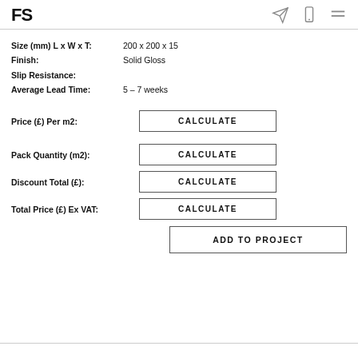FS
Size (mm) L x W x T: 200 x 200 x 15
Finish: Solid Gloss
Slip Resistance:
Average Lead Time: 5 – 7 weeks
Price (£) Per m2: CALCULATE
Pack Quantity (m2): CALCULATE
Discount Total (£): CALCULATE
Total Price (£) Ex VAT: CALCULATE
ADD TO PROJECT